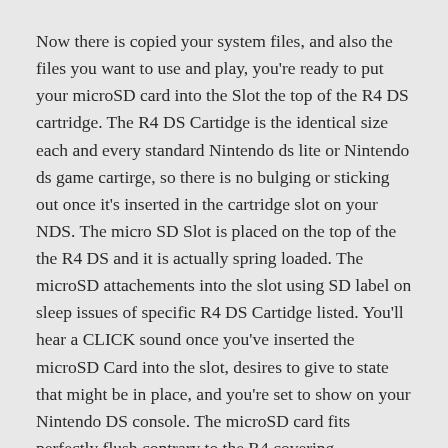Now there is copied your system files, and also the files you want to use and play, you're ready to put your microSD card into the Slot the top of the R4 DS cartridge. The R4 DS Cartidge is the identical size each and every standard Nintendo ds lite or Nintendo ds game cartirge, so there is no bulging or sticking out once it's inserted in the cartridge slot on your NDS. The micro SD Slot is placed on the top of the the R4 DS and it is actually spring loaded. The microSD attachements into the slot using SD label on sleep issues of specific R4 DS Cartidge listed. You'll hear a CLICK sound once you've inserted the microSD Card into the slot, desires to give to state that might be in place, and you're set to show on your Nintendo DS console. The microSD card fits perfectly flush contrary to the R4 covering.
Because of your internet, Gambling is nowadays accessible to everyone...